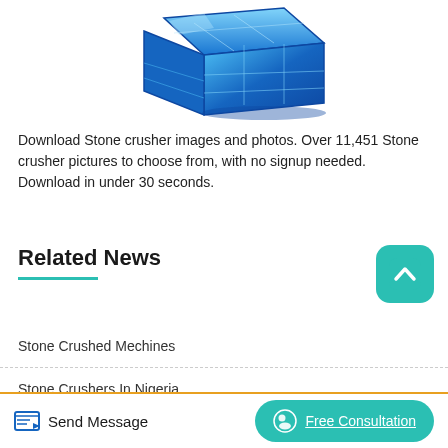[Figure (photo): Blue plastic storage crate rendered in 3D, viewed from slightly above at an angle, with grid-pattern walls, on white background.]
Download Stone crusher images and photos. Over 11,451 Stone crusher pictures to choose from, with no signup needed. Download in under 30 seconds.
Related News
Stone Crushed Mechines
Stone Crushers In Nigeria
Project Cost For Stone Crushing Plant In Maha
Send Message   Free Consultation